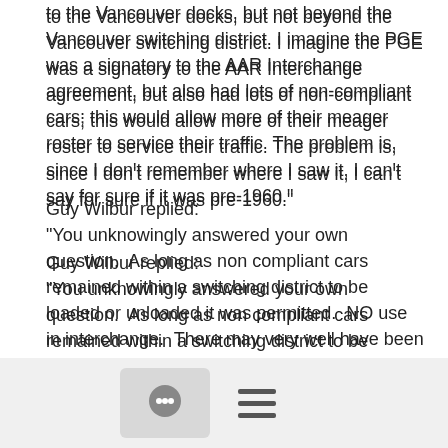to the Vancouver docks, but not beyond the Vancouver switching district. I imagine the PGE was a signatory to the AAR Interchange agreement, but also had lots of non-compliant cars; this would allow more of their meager roster to service their traffic. The problem is, since I don't remember where I saw it, I can't say for sure if it was pre-1960."
Guy Wilbur replied:
"You unknowingly answered your own question.  As long as non compliant cars remained within a switching district to be loaded or unloaded it was permitted.  NO use in interchange.  There may very well have been exceptions, but those were VERY minimal.  Pacific Great Eastern was a subscriber to the Interchange Rules."
Some time between December 1930 and July 1934, a statement appeared in the PGE's ORER listings that "Freight Cars owned are not employed in Interstate Commerce" and lasted until it was replaced with "Freight Cars owned are used only in Switching Service with direct connections" some time between January 1938
[Figure (other): Footer bar with chat bubble icon in a grey rounded box and a hamburger menu icon]